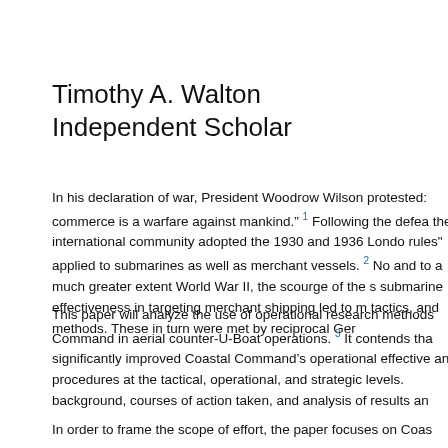Timothy A. Walton
Independent Scholar
In his declaration of war, President Woodrow Wilson protested: commerce is a warfare against mankind.” ¹ Following the defeat of the international community adopted the 1930 and 1936 London rules" applied to submarines as well as merchant vessels. ² No and to a much greater extent World War II, the scourge of the s submarine effectiveness in targeting merchant shipping led to m tactics, and methods. These in turn were met by reciprocal Ger
This paper will analyze the use of operational research methods Command in aerial counter-U-Boat operations. ³ It contends tha significantly improved Coastal Command’s operational effective and procedures at the tactical, operational, and strategic levels. background, courses of action taken, and analysis of results an
In order to frame the scope of effort, the paper focuses on Coas